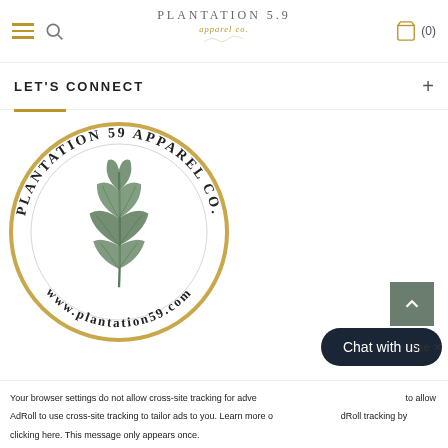PLANTATION 59 apparel co. (0)
LET'S CONNECT
[Figure (logo): Plantation 59 Apparel Co. circular logo with gold border, featuring an oak leaf illustration and text reading 'PLANTATION 59 APPAREL CO.' around the top and 'www.plantation59.com' around the bottom]
Chat with us
ose ✕
Your browser settings do not allow cross-site tracking for advertising. Update your browser settings to allow AdRoll to use cross-site tracking to tailor ads to you. Learn more or opt out of this AdRoll tracking by clicking here. This message only appears once.